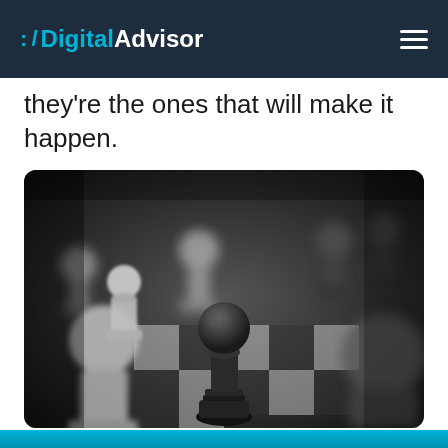:// DigitalAdvisor
they're the ones that will make it happen.
[Figure (photo): Black and white close-up photograph of chess pieces on a chessboard, with a dark pawn in focus in the center surrounded by blurred pawns and pieces in the background.]